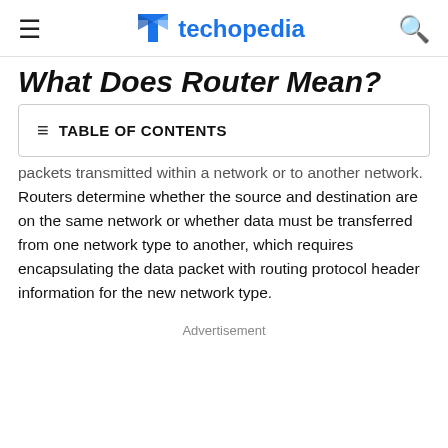techopedia
What Does Router Mean?
TABLE OF CONTENTS
packets transmitted within a network or to another network. Routers determine whether the source and destination are on the same network or whether data must be transferred from one network type to another, which requires encapsulating the data packet with routing protocol header information for the new network type.
Advertisement